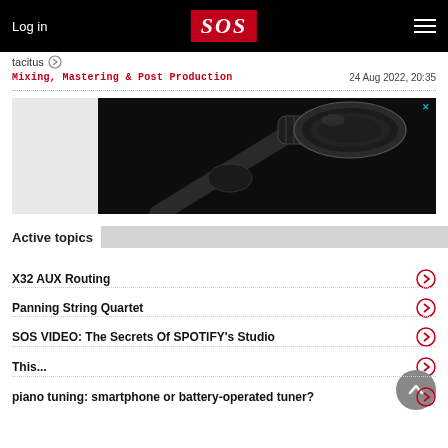Log in | SOS | Menu
tacitus
Mixing, Mastering & Post Production | 24 Aug 2022, 20:35
[Figure (photo): Advertisement banner showing a close-up of a dynamic microphone on a stand against a dark background]
Active topics
X32 AUX Routing
Panning String Quartet
SOS VIDEO: The Secrets Of SPOTIFY's Studio
This...
piano tuning: smartphone or battery-operated tuner?